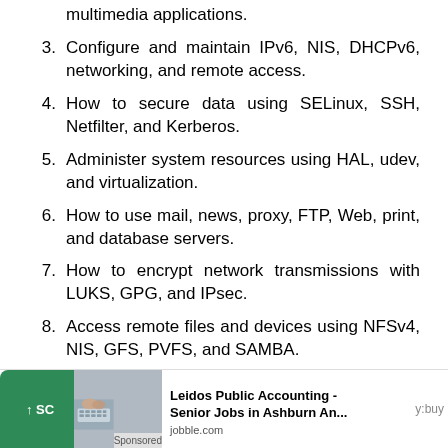multimedia applications.
3. Configure and maintain IPv6, NIS, DHCPv6, networking, and remote access.
4. How to secure data using SELinux, SSH, Netfilter, and Kerberos.
5. Administer system resources using HAL, udev, and virtualization.
6. How to use mail, news, proxy, FTP, Web, print, and database servers.
7. How to encrypt network transmissions with LUKS, GPG, and IPsec.
8. Access remote files and devices using NFSv4, NIS, GFS, PVFS, and SAMBA.
[Figure (screenshot): Advertisement banner: Leidos Public Accounting - Senior Jobs in Ashburn An... from jobble.com, with scroll button and sponsored image of hands on keyboard.]